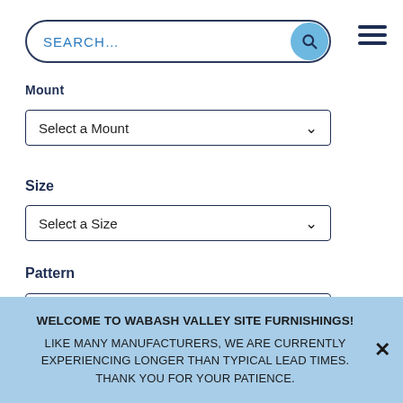[Figure (screenshot): Search bar with rounded border and blue search icon button]
[Figure (other): Hamburger menu icon with three horizontal bars]
Mount
[Figure (other): Dropdown selector: Select a Mount]
Size
[Figure (other): Dropdown selector: Select a Size]
Pattern
[Figure (other): Dropdown selector: Select a Pattern]
WELCOME TO WABASH VALLEY SITE FURNISHINGS! LIKE MANY MANUFACTURERS, WE ARE CURRENTLY EXPERIENCING LONGER THAN TYPICAL LEAD TIMES. THANK YOU FOR YOUR PATIENCE.